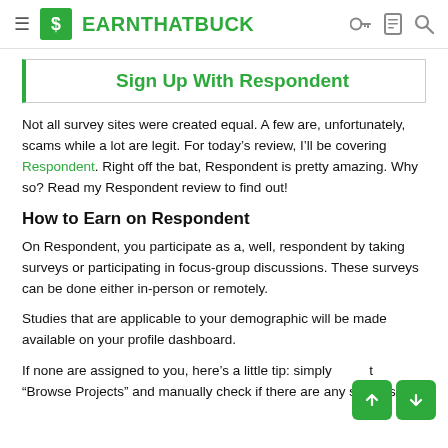≡ EARNTHATBUCK
Sign Up With Respondent
Not all survey sites were created equal. A few are, unfortunately, scams while a lot are legit. For today's review, I'll be covering Respondent. Right off the bat, Respondent is pretty amazing. Why so? Read my Respondent review to find out!
How to Earn on Respondent
On Respondent, you participate as a, well, respondent by taking surveys or participating in focus-group discussions. These surveys can be done either in-person or remotely.
Studies that are applicable to your demographic will be made available on your profile dashboard.
If none are assigned to you, here's a little tip: simply select "Browse Projects" and manually check if there are any surveys